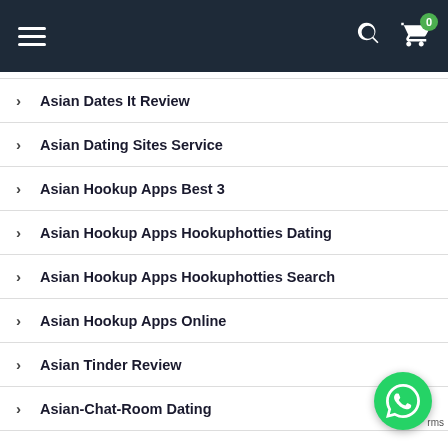Navigation header with hamburger menu, search icon, and cart with 0 items
Asian Dates It Review
Asian Dating Sites Service
Asian Hookup Apps Best 3
Asian Hookup Apps Hookuphotties Dating
Asian Hookup Apps Hookuphotties Search
Asian Hookup Apps Online
Asian Tinder Review
Asian-Chat-Room Dating
[Figure (logo): WhatsApp floating action button (green circle with phone icon)]